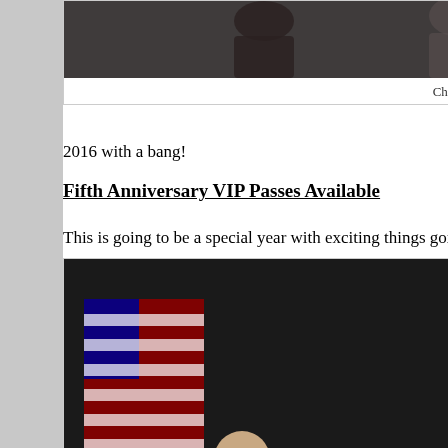[Figure (photo): Chandlers photo - performers on stage, partially visible at top of page]
Chandlers
2016 with a bang!
Fifth Anniversary VIP Passes Available
This is going to be a special year with exciting things going on all fou
[Figure (photo): The Williamsons - four performers on stage with American flag backdrop]
The Williamsons
Your Creekside fifth anniversary tickets must be reserved here: Creek
[Figure (photo): Bottom photo partially visible]